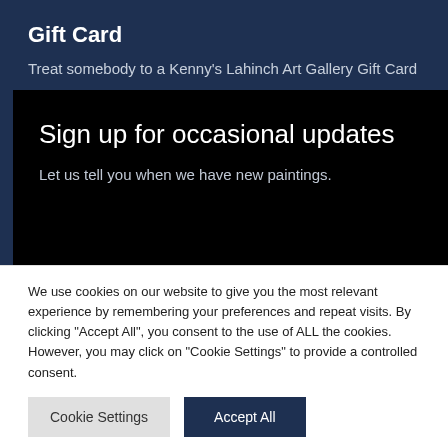Gift Card
Treat somebody to a Kenny's Lahinch Art Gallery Gift Card
[Figure (screenshot): Black banner with white text reading 'Sign up for occasional updates' and subtitle 'Let us tell you when we have new paintings.']
We use cookies on our website to give you the most relevant experience by remembering your preferences and repeat visits. By clicking "Accept All", you consent to the use of ALL the cookies. However, you may click on "Cookie Settings" to provide a controlled consent.
Cookie Settings | Accept All